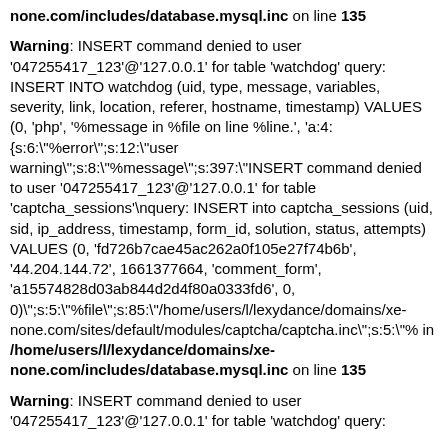none.com/includes/database.mysql.inc on line 135
Warning: INSERT command denied to user '047255417_123'@'127.0.0.1' for table 'watchdog' query: INSERT INTO watchdog (uid, type, message, variables, severity, link, location, referer, hostname, timestamp) VALUES (0, 'php', '%message in %file on line %line.', 'a:4:{s:6:"%error";s:12:"user warning";s:8:"%message";s:397:"INSERT command denied to user &#039;047255417_123&#039;@&#039;127.0.0.1&#039; for table &#039;captcha_sessions&#039;
query: INSERT into captcha_sessions (uid, sid, ip_address, timestamp, form_id, solution, status, attempts) VALUES (0, &#039;fd726b7cae45ac262a0f105e27f74b6b&#039;, &#039;44.204.144.72&#039;, 1661377664, &#039;comment_form&#039;, &#039;a15574828d03ab844d2d4f80a0333fd6&#039;, 0, 0)";s:5:"%file";s:85:"/home/users/l/lexydance/domains/xe-none.com/sites/default/modules/captcha/captcha.inc";s:5:"%  in /home/users/l/lexydance/domains/xe-none.com/includes/database.mysql.inc on line 135
Warning: INSERT command denied to user '047255417_123'@'127.0.0.1' for table 'watchdog' query: